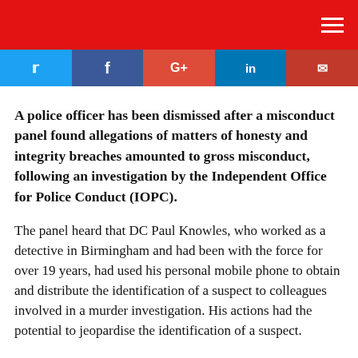[Figure (other): Red header navigation bar with hamburger menu icon on the right]
[Figure (other): Social sharing buttons: Twitter (blue bird), Facebook (blue f), Google+ (red G+), LinkedIn (blue in), Email (red envelope)]
A police officer has been dismissed after a misconduct panel found allegations of matters of honesty and integrity breaches amounted to gross misconduct, following an investigation by the Independent Office for Police Conduct (IOPC).
The panel heard that DC Paul Knowles, who worked as a detective in Birmingham and had been with the force for over 19 years, had used his personal mobile phone to obtain and distribute the identification of a suspect to colleagues involved in a murder investigation. His actions had the potential to jeopardise the identification of a suspect.